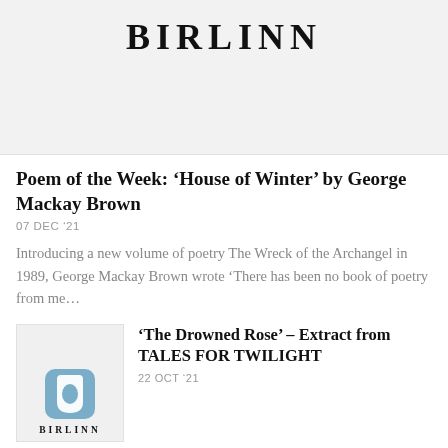[Figure (logo): Birlinn publisher logo banner on grey background with large bold lettered text 'BIRLINN']
Poem of the Week: ‘House of Winter’ by George Mackay Brown
07 DEC ’21
Introducing a new volume of poetry The Wreck of the Archangel in 1989, George Mackay Brown wrote ‘There has been no book of poetry from me…
[Figure (logo): Small Birlinn publisher logo thumbnail on grey background with blue rounded square logo icon and 'BIRLINN' text]
‘The Drowned Rose’ – Extract from TALES FOR TWILIGHT
22 OCT ’21